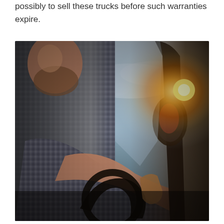possibly to sell these trucks before such warranties expire.
[Figure (photo): Close-up photo of a truck driver's side profile and arm gripping door handle/steering wheel area of a large truck cab, with sunlight flare coming through the window on the right side.]